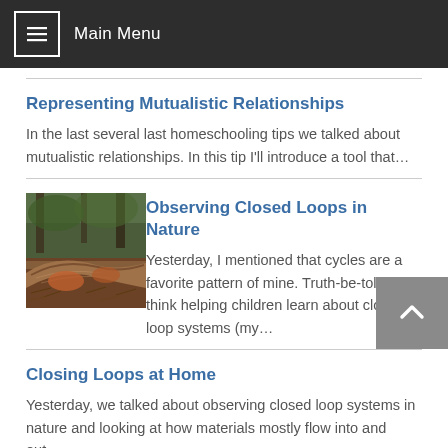Main Menu
Representing Mutualistic Relationships
In the last several last homeschooling tips we talked about mutualistic relationships. In this tip I'll introduce a tool that…
[Figure (photo): Photo of tree roots or wood on forest floor with pine needles]
Observing Closed Loops in Nature
Yesterday, I mentioned that cycles are a favorite pattern of mine. Truth-be-told, I think helping children learn about closed loop systems (my…
Closing Loops at Home
Yesterday, we talked about observing closed loop systems in nature and looking at how materials mostly flow into and out…
Composting